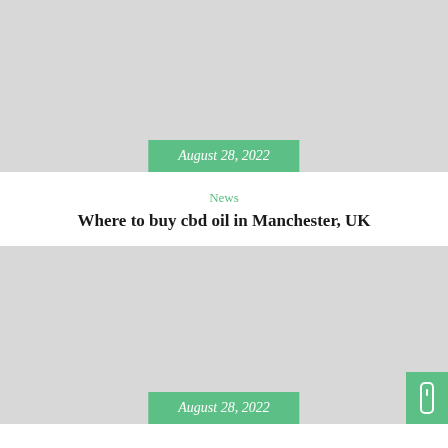[Figure (photo): Gray placeholder image for a news article thumbnail, top card]
August 28, 2022
News
Where to buy cbd oil in Manchester, UK
[Figure (photo): Gray placeholder image for a news article thumbnail, bottom card]
August 28, 2022